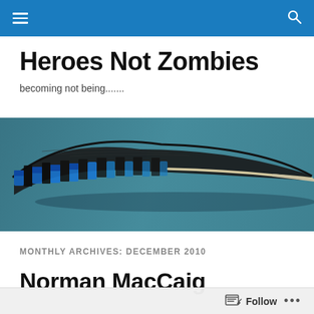Heroes Not Zombies – site navigation header bar
Heroes Not Zombies
becoming not being.......
[Figure (photo): A blue jay feather lying on a teal/blue-grey surface. The feather is dark grey/black with distinctive blue and black barred markings along its edge, with a lighter quill tip.]
MONTHLY ARCHIVES: DECEMBER 2010
Norman MacCaig
Follow ...